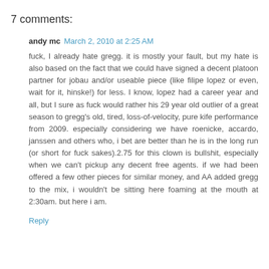7 comments:
andy mc  March 2, 2010 at 2:25 AM
fuck, I already hate gregg. it is mostly your fault, but my hate is also based on the fact that we could have signed a decent platoon partner for jobau and/or useable piece (like filipe lopez or even, wait for it, hinske!) for less. I know, lopez had a career year and all, but I sure as fuck would rather his 29 year old outlier of a great season to gregg's old, tired, loss-of-velocity, pure kife performance from 2009. especially considering we have roenicke, accardo, janssen and others who, i bet are better than he is in the long run (or short for fuck sakes).2.75 for this clown is bullshit, especially when we can't pickup any decent free agents. if we had been offered a few other pieces for similar money, and AA added gregg to the mix, i wouldn't be sitting here foaming at the mouth at 2:30am. but here i am.
Reply